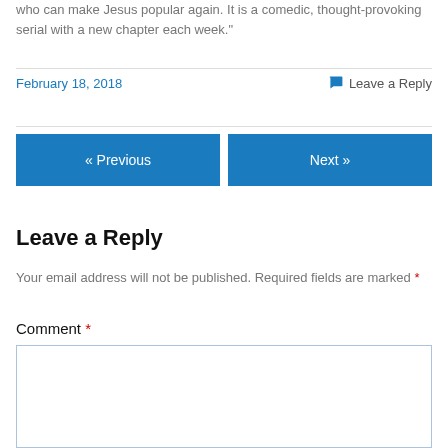who can make Jesus popular again. It is a comedic, thought-provoking serial with a new chapter each week."
February 18, 2018
Leave a Reply
« Previous
Next »
Leave a Reply
Your email address will not be published. Required fields are marked *
Comment *